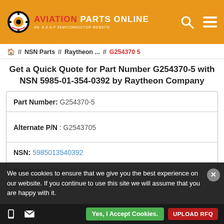AVIATION PARTS ONLINE — AN A.S.A.P SEMICONDUCTOR WEBSITE
Home // NSN Parts // Raytheon ... // G254370 5
Get a Quick Quote for Part Number G254370-5 with NSN 5985-01-354-0392 by Raytheon Company
| Field | Value |
| --- | --- |
| Part Number: | G254370-5 |
| Alternate P/N : | G2543705 |
| NSN: | 5985013540392 |
| Item Name: | Attenuator Fixed |
We use cookies to ensure that we give you the best experience on our website. If you continue to use this site we will assume that you are happy with it.
Yes, I Accept Cookies. | UPLOAD RFQ